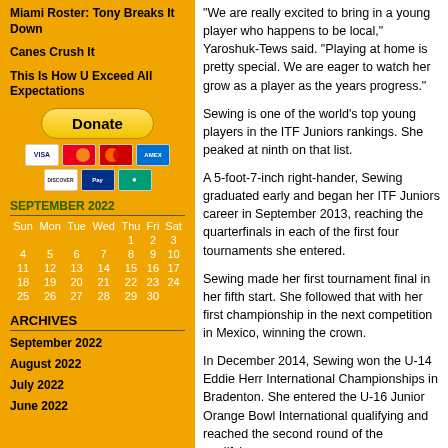Miami Roster: Tony Breaks It Down
Canes Crush It
This Is How U Exceed All Expectations
[Figure (other): Donate button with payment icons (VISA, Mastercard, etc.)]
SEPTEMBER 2022
| Sun | Mon | Tue | Wed | Thu | Fri | Sat |
| --- | --- | --- | --- | --- | --- | --- |
|  |  |  |  | 1 | 2 | 3 |
| 4 | 5 | 6 | 7 | 8 | 9 | 10 |
| 11 | 12 | 13 | 14 | 15 | 16 | 17 |
| 18 | 19 | 20 | 21 | 22 | 23 | 24 |
| 25 | 26 | 27 | 28 | 29 | 30 |  |
ARCHIVES
September 2022
August 2022
July 2022
June 2022
"We are really excited to bring in a young player who happens to be local," Yaroshuk-Tews said. "Playing at home is pretty special. We are eager to watch her grow as a player as the years progress."
Sewing is one of the world's top young players in the ITF Juniors rankings. She peaked at ninth on that list.
A 5-foot-7-inch right-hander, Sewing graduated early and began her ITF Juniors career in September 2013, reaching the quarterfinals in each of the first four tournaments she entered.
Sewing made her first tournament final in her fifth start. She followed that with her first championship in the next competition in Mexico, winning the crown.
In December 2014, Sewing won the U-14 Eddie Herr International Championships in Bradenton. She entered the U-16 Junior Orange Bowl International qualifying and reached the second round of the qualifying.
Sewing swept the titles at Eddie Herr a year